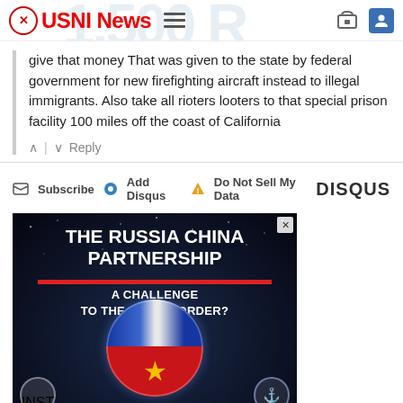USNI News
give that money That was given to the state by federal government for new firefighting aircraft instead to illegal immigrants. Also take all rioters looters to that special prison facility 100 miles off the coast of California
Reply
Subscribe  Add Disqus  Do Not Sell My Data   DISQUS
[Figure (screenshot): Advertisement banner for 'The Russia China Partnership: A Challenge to the World Order?' featuring a globe split between Russian and Chinese flags against a starfield background]